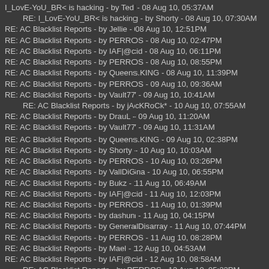I_LovE-YoU_BR< is hacking - by Ted - 08 Aug 10, 05:37AM
RE: I_LovE-YoU_BR< is hacking - by Shorty - 08 Aug 10, 07:30AM
RE: AC Blacklist Reports - by Jellie - 08 Aug 10, 12:51PM
RE: AC Blacklist Reports - by PERROS - 08 Aug 10, 02:47PM
RE: AC Blacklist Reports - by IAF|@cid - 08 Aug 10, 06:11PM
RE: AC Blacklist Reports - by PERROS - 08 Aug 10, 08:55PM
RE: AC Blacklist Reports - by Queens.KING - 08 Aug 10, 11:39PM
RE: AC Blacklist Reports - by PERROS - 09 Aug 10, 09:36AM
RE: AC Blacklist Reports - by Vault77 - 09 Aug 10, 10:41AM
RE: AC Blacklist Reports - by jAcKRoCk* - 10 Aug 10, 07:55AM
RE: AC Blacklist Reports - by DrauL - 09 Aug 10, 11:20AM
RE: AC Blacklist Reports - by Vault77 - 09 Aug 10, 11:31AM
RE: AC Blacklist Reports - by Queens.KING - 09 Aug 10, 02:38PM
RE: AC Blacklist Reports - by Shorty - 10 Aug 10, 10:03AM
RE: AC Blacklist Reports - by PERROS - 10 Aug 10, 03:26PM
RE: AC Blacklist Reports - by VallDiGna - 10 Aug 10, 06:55PM
RE: AC Blacklist Reports - by Bukz - 11 Aug 10, 06:49AM
RE: AC Blacklist Reports - by IAF|@cid - 11 Aug 10, 12:03PM
RE: AC Blacklist Reports - by PERROS - 11 Aug 10, 01:39PM
RE: AC Blacklist Reports - by dashun - 11 Aug 10, 04:15PM
RE: AC Blacklist Reports - by GeneralDisarray - 11 Aug 10, 07:44PM
RE: AC Blacklist Reports - by PERROS - 11 Aug 10, 08:28PM
RE: AC Blacklist Reports - by Mael - 12 Aug 10, 04:53AM
RE: AC Blacklist Reports - by IAF|@cid - 12 Aug 10, 08:58AM
RE: AC Blacklist Reports - by PERROS - 12 Aug 10, 05:22PM